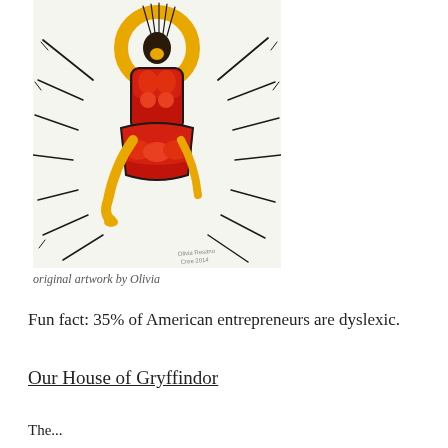[Figure (illustration): Indigenous-style artwork depicting a dancer or spirit figure in red robes with yellow circular halo and arms, with black line details radiating outward, signed by Olivia, dated 2014]
original artwork by Olivia
Fun fact: 35% of American entrepreneurs are dyslexic.
Our House of Gryffindor
The...